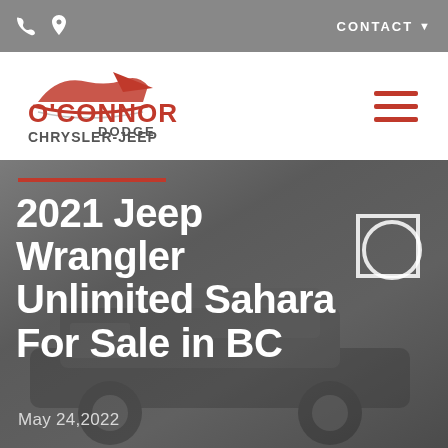CONTACT
[Figure (logo): O'Connor Dodge Chrysler-Jeep dealership logo with red arrow/car graphic and red text]
2021 Jeep Wrangler Unlimited Sahara For Sale in BC
May 24,2022